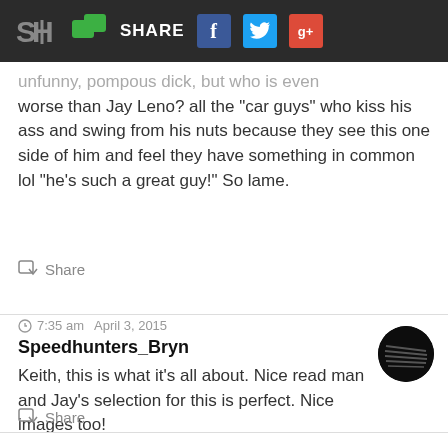SH SHARE f t g+
unfunny, pompous dick, but who is even worse than Jay Leno? all the "car guys" who kiss his ass and swing from his nuts because they see this one side of him and feel they have something in common lol "he's such a great guy!" So lame.
Share
7:35 am  April 3, 2015
Speedhunters_Bryn
Keith, this is what it's all about. Nice read man and Jay's selection for this is perfect. Nice images too!
Share